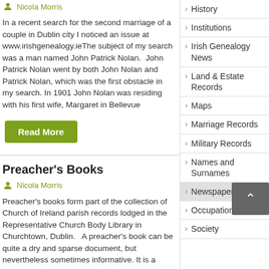Nicola Morris
In a recent search for the second marriage of a couple in Dublin city I noticed an issue at www.irishgenealogy.ieThe subject of my search was a man named John Patrick Nolan.  John Patrick Nolan went by both John Nolan and Patrick Nolan, which was the first obstacle in my search. In 1901 John Nolan was residing with his first wife, Margaret in Bellevue
Read More
Preacher's Books
Nicola Morris
Preacher's books form part of the collection of Church of Ireland parish records lodged in the Representative Church Body Library in Churchtown, Dublin.   A preacher's book can be quite a dry and sparse document, but nevertheless sometimes informative. It is a record of the
History
Institutions
Irish Genealogy News
Land & Estate Records
Maps
Marriage Records
Military Records
Names and Surnames
Newspapers
Occupations
Society